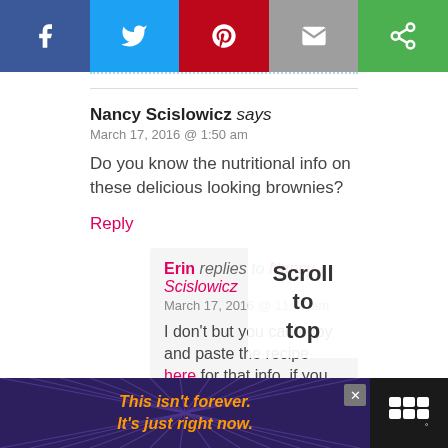[Figure (screenshot): Social share bar with Facebook, Twitter, Pinterest, Email, and a green share button]
Nancy Scislowicz says
March 17, 2016 @ 1:50 am
Do you know the nutritional info on these delicious looking brownies?
Reply
Erin replies to Nancy Scislowicz
March 17, 2016 @ 11:57 am
I don't but you can copy and paste the recipe here for that info, if you like. :)
[Figure (screenshot): Scroll to top button overlay]
[Figure (screenshot): Advertisement banner: This isn't forever. It's just right now.]